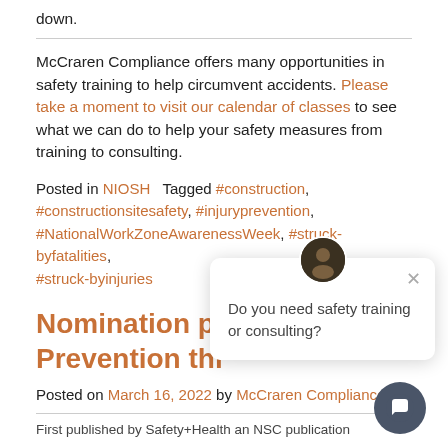down.
McCraren Compliance offers many opportunities in safety training to help circumvent accidents. Please take a moment to visit our calendar of classes to see what we can do to help your safety measures from training to consulting.
Posted in NIOSH   Tagged #construction, #constructionsitesafety, #injuryprevention, #NationalWorkZoneAwarenessWeek, #struck-byfatalities, #struck-byinjuries
Nomination pe... Prevention thr...
Posted on March 16, 2022 by McCraren Compliance
First published by Safety+Health an NSC publication
[Figure (screenshot): Chat popup widget with avatar icon and message 'Do you need safety training or consulting?', with close button X. Also a circular chat button at bottom right.]